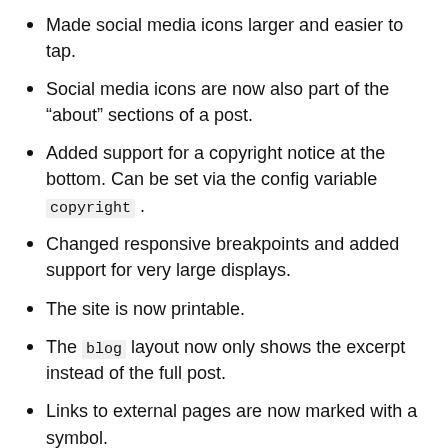Made social media icons larger and easier to tap.
Social media icons are now also part of the “about” sections of a post.
Added support for a copyright notice at the bottom. Can be set via the config variable copyright .
Changed responsive breakpoints and added support for very large displays.
The site is now printable.
The blog layout now only shows the excerpt instead of the full post.
Links to external pages are now marked with a symbol.
Added margin above social media icons to prevent accidental tapping
Added gem files so that bundle install and